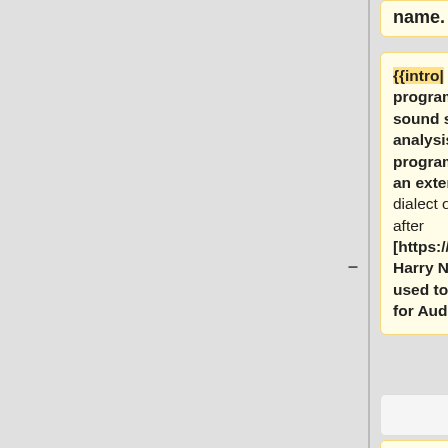name. }}
{{intro| Nyquist is a programming language for sound synthesis and analysis based on the Lisp programming language. It is an extension of the XLISP dialect of Lisp, and is named after [https://en.wikipedia.org/wiki/Harry_Nyquist Harry Nyquist]. It can be used to write plug-in effects for Audacity.
The Nyquist programming
Click [[:Category:Nyquist|